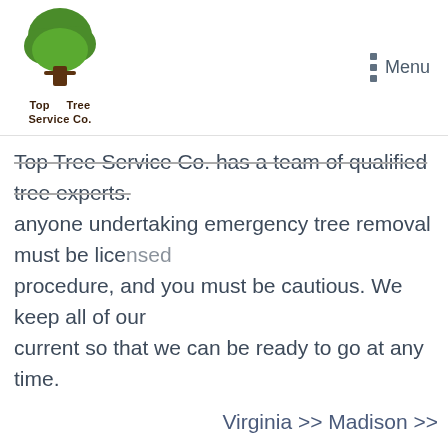[Figure (logo): Top Tree Service Co. logo with green tree illustration and brown text]
Menu
Top Tree Service Co. has a team of qualified tree experts. anyone undertaking emergency tree removal must be licensed procedure, and you must be cautious. We keep all of our current so that we can be ready to go at any time.
Virginia >> Madison >>